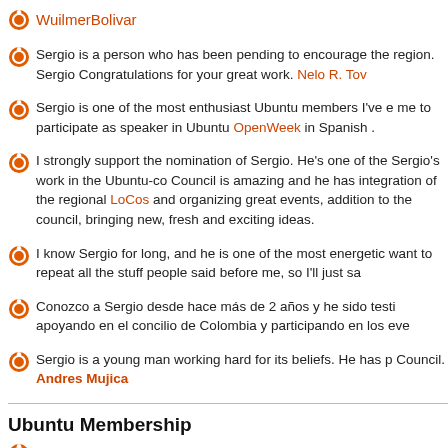WuilmerBolivar
Sergio is a person who has been pending to encourage the region. Sergio Congratulations for your great work. Nelo R. Tov
Sergio is one of the most enthusiast Ubuntu members I've e me to participate as speaker in Ubuntu OpenWeek in Spanish .
I strongly support the nomination of Sergio. He's one of the Sergio's work in the Ubuntu-co Council is amazing and he has integration of the regional LoCos and organizing great events, addition to the council, bringing new, fresh and exciting ideas.
I know Sergio for long, and he is one of the most energetic want to repeat all the stuff people said before me, so I'll just sa
Conozco a Sergio desde hace más de 2 años y he sido testi apoyando en el concilio de Colombia y participando en los eve
Sergio is a young man working hard for its beliefs. He has p Council. Andres Mujica
Ubuntu Membership